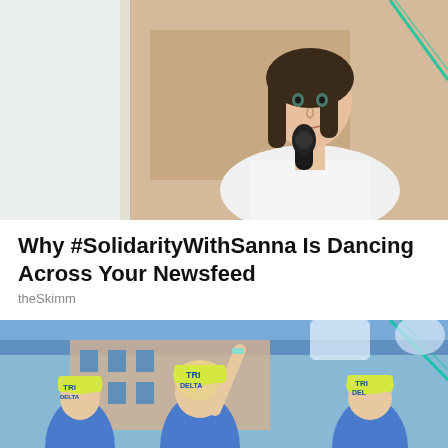[Figure (photo): Woman with dark hair wearing a white t-shirt being interviewed with a microphone, light background with diagonal green line graphic element]
Why #SolidarityWithSanna Is Dancing Across Your Newsfeed
theSkimm
[Figure (photo): Crowd of people wearing yellow TRI DELTA caps and blue shirts celebrating outdoors in front of a building, arms raised, blue and white decorations visible]